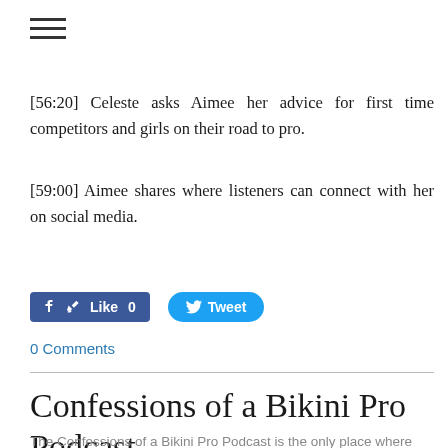[56:20] Celeste asks Aimee her advice for first time competitors and girls on their road to pro.
[59:00] Aimee shares where listeners can connect with her on social media.
[Figure (other): Facebook Like button showing 0 likes and a Twitter Tweet button]
0 Comments
Confessions of a Bikini Pro Podcast
The Confessions of a Bikini Pro Podcast is the only place where IFBB Bikini Pros share their struggles, strategies, stories,